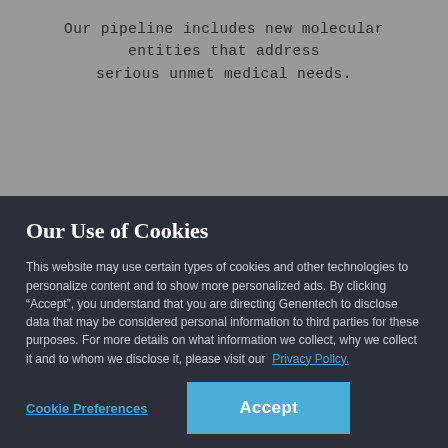Our pipeline includes new molecular entities that address serious unmet medical needs.
Our Use of Cookies
This website may use certain types of cookies and other technologies to personalize content and to show more personalized ads. By clicking “Accept”, you understand that you are directing Genentech to disclose data that may be considered personal information to third parties for these purposes. For more details on what information we collect, why we collect it and to whom we disclose it, please visit our Privacy Policy.
Cookie Preferences
Accept